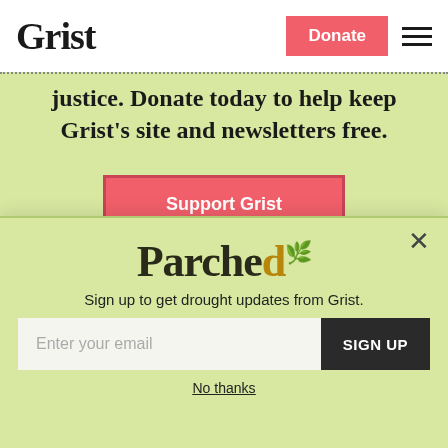Grist
justice. Donate today to help keep Grist's site and newsletters free.
Support Grist
Topics
Parched
Sign up to get drought updates from Grist.
Enter your email
SIGN UP
No thanks